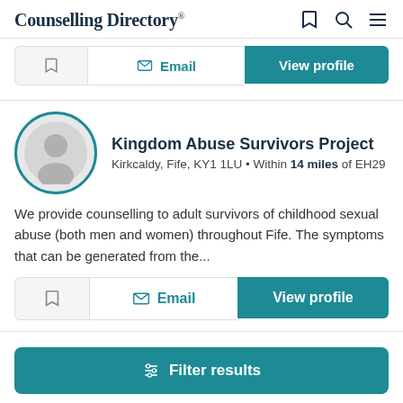Counselling Directory
[Figure (screenshot): Partial previous listing card with bookmark, Email, and View profile buttons]
Kingdom Abuse Survivors Project
Kirkcaldy, Fife, KY1 1LU • Within 14 miles of EH29
We provide counselling to adult survivors of childhood sexual abuse (both men and women) throughout Fife. The symptoms that can be generated from the...
Filter results